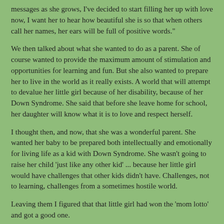messages as she grows, I've decided to start filling her up with love now, I want her to hear how beautiful she is so that when others call her names, her ears will be full of positive words."
We then talked about what she wanted to do as a parent. She of course wanted to provide the maximum amount of stimulation and opportunities for learning and fun. But she also wanted to prepare her to live in the world as it really exists. A world that will attempt to devalue her little girl because of her disability, because of her Down Syndrome. She said that before she leave home for school, her daughter will know what it is to love and respect herself.
I thought then, and now, that she was a wonderful parent. She wanted her baby to be prepared both intellectually and emotionally for living life as a kid with Down Syndrome. She wasn't going to raise her child 'just like any other kid' ... because her little girl would have challenges that other kids didn't have. Challenges, not to learning, challenges from a sometimes hostile world.
Leaving them I figured that that little girl had won the 'mom lotto' and got a good one.
She sure was a lucky one...